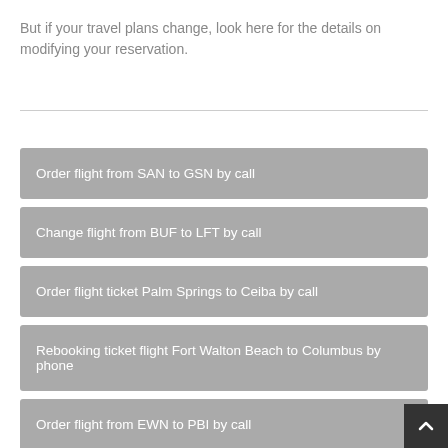But if your travel plans change, look here for the details on modifying your reservation.
Order flight from SAN to GSN by call
Change flight from BUF to LFT by call
Order flight ticket Palm Springs to Ceiba by call
Rebooking ticket flight Fort Walton Beach to Columbus by phone
Order flight from EWN to PBI by call
Cancellation flight from MLI to BOK by phone